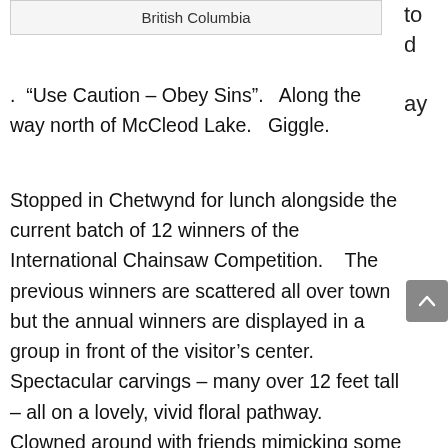| British Columbia |
today
. “Use Caution – Obey Sins”.   Along the way north of McCleod Lake.   Giggle.
Stopped in Chetwynd for lunch alongside the current batch of 12 winners of the International Chainsaw Competition.    The previous winners are scattered all over town but the annual winners are displayed in a group in front of the visitor’s center.    Spectacular carvings – many over 12 feet tall – all on a lovely, vivid floral pathway.    Clowned around with friends mimicking some of the statues.   Super nice lunch break.